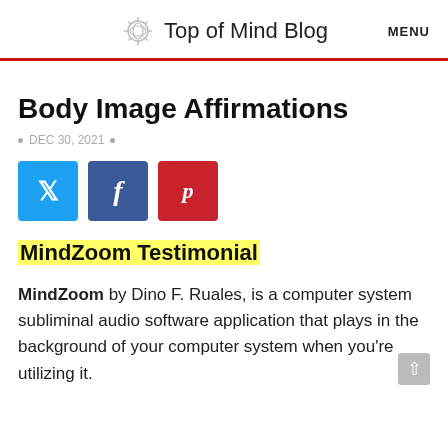Top of Mind Blog  MENU
Body Image Affirmations
DEC 30, 2021
[Figure (infographic): Social share buttons: Twitter (blue), Facebook (dark blue), Pinterest (red)]
MindZoom Testimonial
MindZoom by Dino F. Ruales, is a computer system subliminal audio software application that plays in the background of your computer system when you're utilizing it.